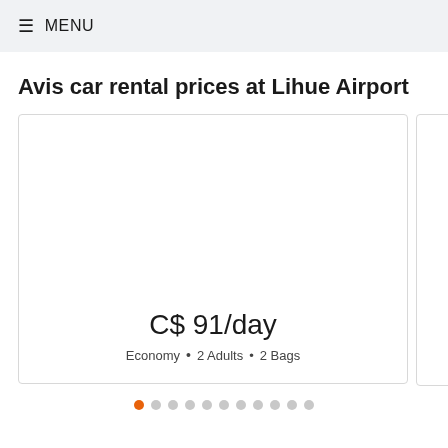≡ MENU
Avis car rental prices at Lihue Airport
[Figure (other): Car rental card showing C$ 91/day price for Economy class, 2 Adults, 2 Bags, with a partially visible second card to the right]
C$ 91/day
Economy • 2 Adults • 2 Bags